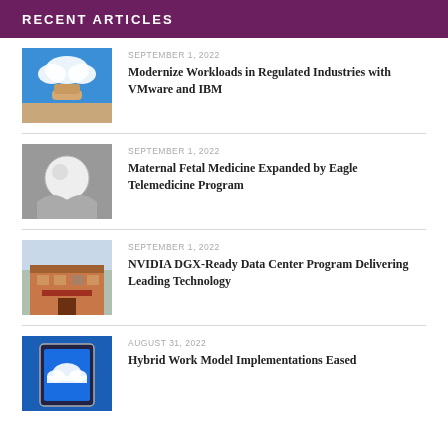RECENT ARTICLES
[Figure (photo): Hand holding a cloud computing globe against blue sky]
SEPTEMBER 1, 2022
Modernize Workloads in Regulated Industries with VMware and IBM
[Figure (photo): Black and white photo of hands cradling a reflective sphere]
SEPTEMBER 1, 2022
Maternal Fetal Medicine Expanded by Eagle Telemedicine Program
[Figure (photo): Photo of a brick building storefront on a street]
SEPTEMBER 1, 2022
NVIDIA DGX-Ready Data Center Program Delivering Leading Technology
[Figure (photo): Tablet with cloud icon on blue background]
AUGUST 31, 2022
Hybrid Work Model Implementations Eased